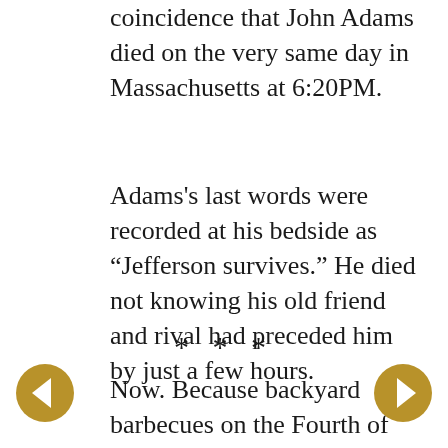coincidence that John Adams died on the very same day in Massachusetts at 6:20PM.
Adams's last words were recorded at his bedside as “Jefferson survives.” He died not knowing his old friend and rival had preceded him by just a few hours.
* * *
Now. Because backyard barbecues on the Fourth of July are as traditional as parades and fireworks, here, for some